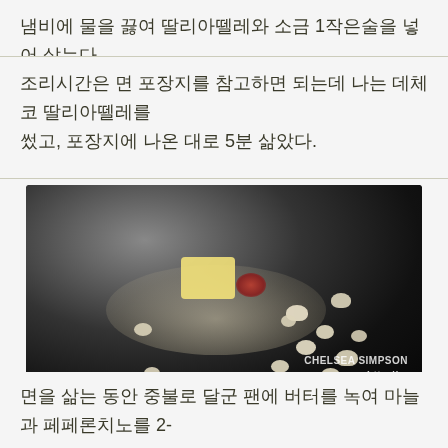냄비에 물을 끓여 딸리아뗄레와 소금 1작은술을 넣어 삶는다.
조리시간은 면 포장지를 참고하면 되는데 나는 데체코 딸리아뗄레를 썼고, 포장지에 나온 대로 5분 삶았다.
[Figure (photo): A black frying pan with butter pieces melting, garlic cloves, and red pepper flakes. Watermark reads CHELSEA SIMPSON http://...]
면을 삶는 동안 중불로 달군 팬에 버터를 녹여 마늘과 페페론치노를 2-